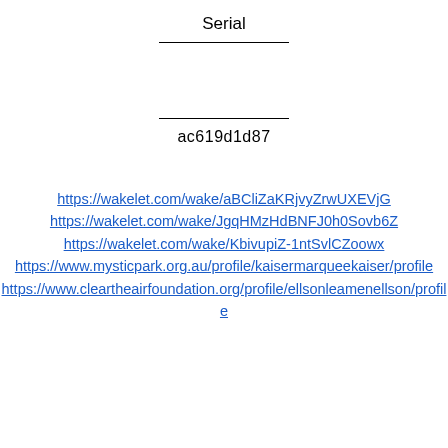Serial
ac619d1d87
https://wakelet.com/wake/aBCliZaKRjvyZrwUXEVjG
https://wakelet.com/wake/JgqHMzHdBNFJ0h0Sovb6Z
https://wakelet.com/wake/KbivupiZ-1ntSvlCZoowx
https://www.mysticpark.org.au/profile/kaisermarqueekaiser/profile
https://www.cleartheairfoundation.org/profile/ellsonleamenellson/profile